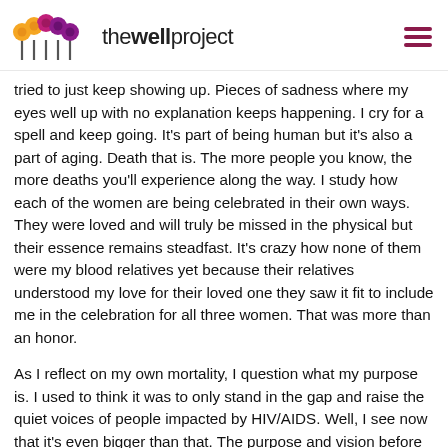thewellproject
tried to just keep showing up. Pieces of sadness where my eyes well up with no explanation keeps happening. I cry for a spell and keep going. It's part of being human but it's also a part of aging. Death that is. The more people you know, the more deaths you'll experience along the way. I study how each of the women are being celebrated in their own ways. They were loved and will truly be missed in the physical but their essence remains steadfast. It's crazy how none of them were my blood relatives yet because their relatives understood my love for their loved one they saw it fit to include me in the celebration for all three women. That was more than an honor.
As I reflect on my own mortality, I question what my purpose is. I used to think it was to only stand in the gap and raise the quiet voices of people impacted by HIV/AIDS. Well, I see now that it's even bigger than that. The purpose and vision before used to scare me but this feels different. It makes me nervous but with so much certainty at the same time. You know it's not everyday that